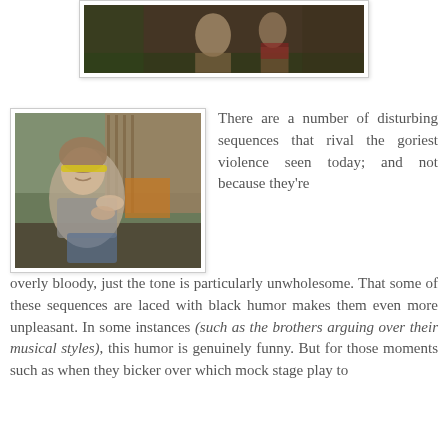[Figure (photo): Top partial photo showing people outdoors, partially cropped at top of page]
[Figure (photo): Photo of a woman with yellow headband being grabbed or restrained, outdoors near a wooden structure]
There are a number of disturbing sequences that rival the goriest violence seen today; and not because they're overly bloody, just the tone is particularly unwholesome. That some of these sequences are laced with black humor makes them even more unpleasant. In some instances (such as the brothers arguing over their musical styles), this humor is genuinely funny. But for those moments such as when they bicker over which mock stage play to